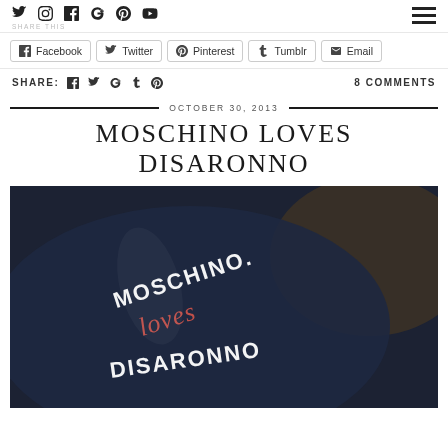Social icons row: Twitter, Instagram, Facebook, Google+, Pinterest, YouTube | Hamburger menu
SHARE THIS
Facebook | Twitter | Pinterest | Tumblr | Email
SHARE: f t g+ t p    8 COMMENTS
OCTOBER 30, 2013
MOSCHINO LOVES DISARONNO
[Figure (photo): Close-up photo of a dark navy Disaronno bottle with Moschino loves Disaronno branding text in white and pink on a dark background]